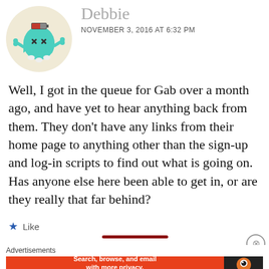[Figure (illustration): Avatar of a cartoon teal ghost character with bones and a battery icon on its head, inside a circular cream-colored background]
Debbie
NOVEMBER 3, 2016 AT 6:32 PM
Well, I got in the queue for Gab over a month ago, and have yet to hear anything back from them. They don't have any links from their home page to anything other than the sign-up and log-in scripts to find out what is going on. Has anyone else here been able to get in, or are they really that far behind?
★ Like
[Figure (illustration): DuckDuckGo advertisement banner: orange section with text 'Search, browse, and email with more privacy. All in One Free App' and dark section with DuckDuckGo logo]
Advertisements